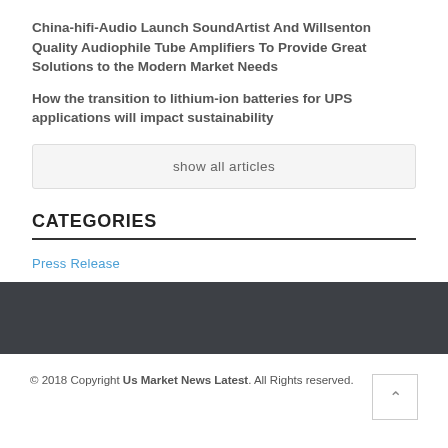China-hifi-Audio Launch SoundArtist And Willsenton Quality Audiophile Tube Amplifiers To Provide Great Solutions to the Modern Market Needs
How the transition to lithium-ion batteries for UPS applications will impact sustainability
show all articles
CATEGORIES
Press Release
© 2018 Copyright Us Market News Latest. All Rights reserved.